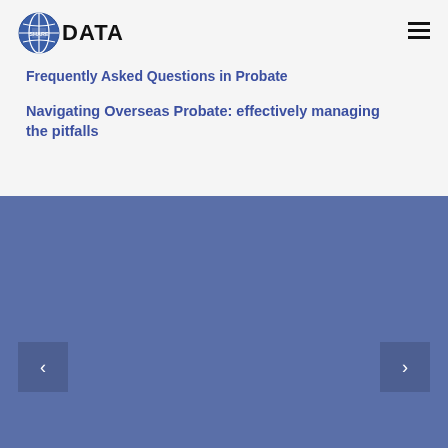[Figure (logo): Share Data logo with globe icon and bold DATA text]
Frequently Asked Questions in Probate
Navigating Overseas Probate: effectively managing the pitfalls
[Figure (illustration): Blue carousel panel with previous and next navigation arrows on either side]